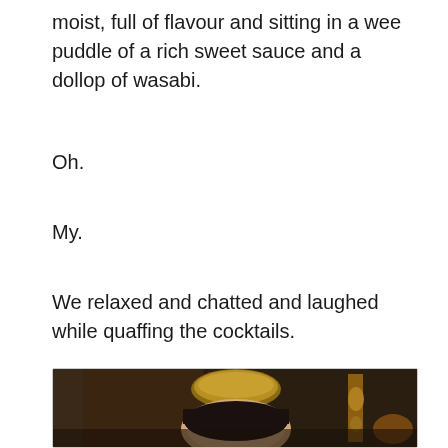moist, full of flavour and sitting in a wee puddle of a rich sweet sauce and a dollop of wasabi.
Oh.
My.
We relaxed and chatted and laughed while quaffing the cocktails.
[Figure (photo): A person wearing a decorative gold crown/tiara, with dark hair, photographed indoors in a warmly lit room with dark wood paneling and gold decorative elements in the background.]